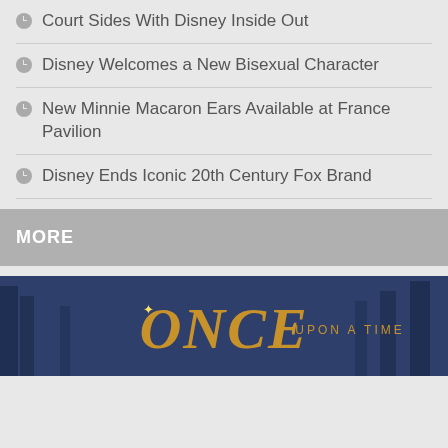Court Sides With Disney Inside Out
Disney Welcomes a New Bisexual Character
New Minnie Macaron Ears Available at France Pavilion
Disney Ends Iconic 20th Century Fox Brand
MORE
[Figure (photo): Once Upon a Time TV show title card with golden stylized text on a dark blue forest background]